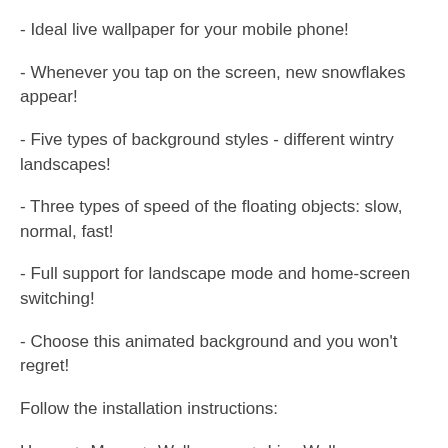- Ideal live wallpaper for your mobile phone!
- Whenever you tap on the screen, new snowflakes appear!
- Five types of background styles - different wintry landscapes!
- Three types of speed of the floating objects: slow, normal, fast!
- Full support for landscape mode and home-screen switching!
- Choose this animated background and you won't regret!
Follow the installation instructions:
Home -> Menu -> Wallpapers -> Live Wallpapers